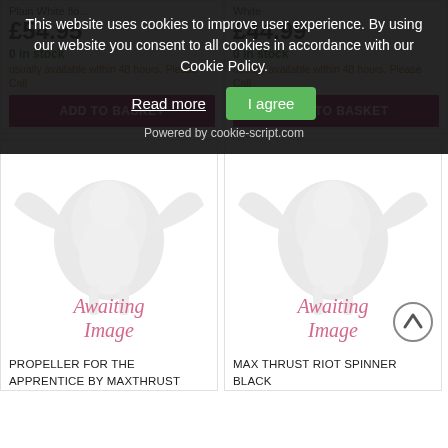[Figure (screenshot): Cookie consent banner overlay on a shopping website. Banner text: 'This website uses cookies to improve user experience. By using our website you consent to all cookies in accordance with our Cookie Policy.' with 'Read more' link and 'I agree' green button, and 'Powered by cookie-script.com' text.]
0 in stock
usually available within 48 hours. Please Call
ADD TO BASKET
0 in stock
usually available within 48 hours. Please Call
ADD TO BASKET
[Figure (photo): Awaiting image placeholder with a grey pegasus/winged horse logo and pink italic 'Awaiting Image' text]
PROPELLER FOR THE APPRENTICE BY MAXTHRUST
[Figure (photo): Awaiting image placeholder with a grey pegasus/winged horse logo and pink italic 'Awaiting Image' text]
MAX THRUST RIOT SPINNER BLACK